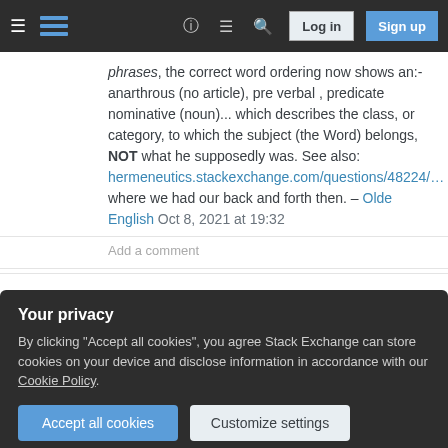Stack Exchange navigation bar with Log in and Sign up buttons
phrases, the correct word ordering now shows an:- anarthrous (no article), pre verbal , predicate nominative (noun)... which describes the class, or category, to which the subject (the Word) belongs, NOT what he supposedly was. See also: hermeneutics.stackexchange.com/questions/48224/… where we had our back and forth then. – Olde English Oct 8, 2021 at 19:32
Add a comment
If the Word was God, and the Word was the Son, can we conclude that the Son is God?
Your privacy
By clicking "Accept all cookies", you agree Stack Exchange can store cookies on your device and disclose information in accordance with our Cookie Policy.
Accept all cookies   Customize settings
requiring leaps of assumption.